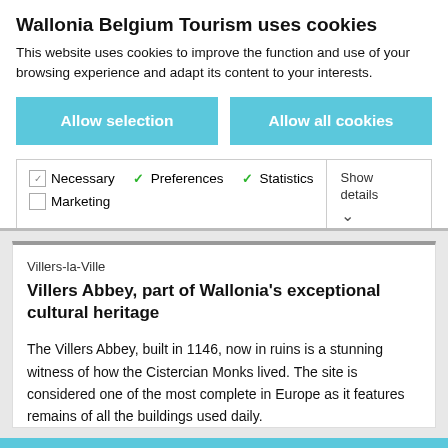Wallonia Belgium Tourism uses cookies
This website uses cookies to improve the function and use of your browsing experience and adapt its content to your interests.
Allow selection
Allow all cookies
Necessary  Preferences  Statistics  Marketing  Show details
Villers-la-Ville
Villers Abbey, part of Wallonia's exceptional cultural heritage
The Villers Abbey, built in 1146, now in ruins is a stunning witness of how the Cistercian Monks lived. The site is considered one of the most complete in Europe as it features remains of all the buildings used daily.